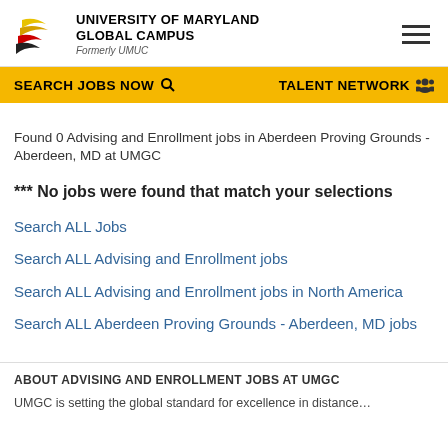UNIVERSITY OF MARYLAND GLOBAL CAMPUS Formerly UMUC
SEARCH JOBS NOW  TALENT NETWORK
Found 0 Advising and Enrollment jobs in Aberdeen Proving Grounds - Aberdeen, MD at UMGC
*** No jobs were found that match your selections
Search ALL Jobs
Search ALL Advising and Enrollment jobs
Search ALL Advising and Enrollment jobs in North America
Search ALL Aberdeen Proving Grounds - Aberdeen, MD jobs
ABOUT ADVISING AND ENROLLMENT JOBS AT UMGC
UMGC is setting the global standard for excellence in distance...